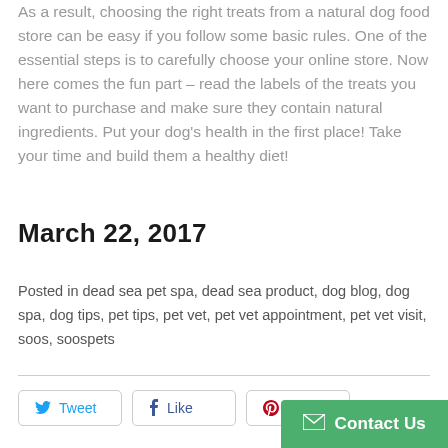As a result, choosing the right treats from a natural dog food store can be easy if you follow some basic rules. One of the essential steps is to carefully choose your online store. Now here comes the fun part – read the labels of the treats you want to purchase and make sure they contain natural ingredients. Put your dog's health in the first place! Take your time and build them a healthy diet!
March 22, 2017
Posted in dead sea pet spa, dead sea product, dog blog, dog spa, dog tips, pet tips, pet vet, pet vet appointment, pet vet visit, soos, soospets